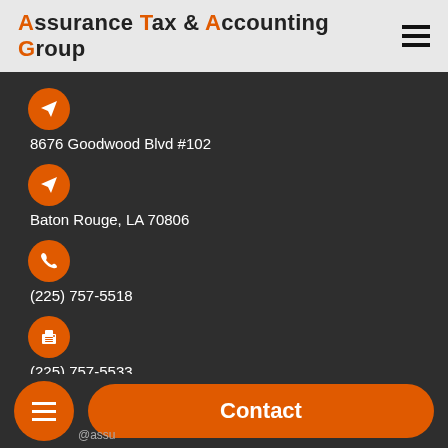Assurance Tax & Accounting Group
8676 Goodwood Blvd #102
Baton Rouge, LA 70806
(225) 757-5518
(225) 757-5533
Contact